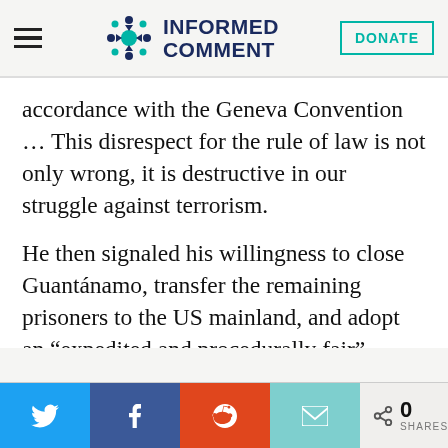INFORMED COMMENT
accordance with the Geneva Convention ... This disrespect for the rule of law is not only wrong, it is destructive in our struggle against terrorism.
He then signaled his willingness to close Guantánamo, transfer the remaining prisoners to the US mainland, and adopt an “expedited and procedurally fair” review process for evaluating the status of the prisoners, which, of course, is just what long-
Share buttons: Twitter, Facebook, Reddit, Email | 0 SHARES